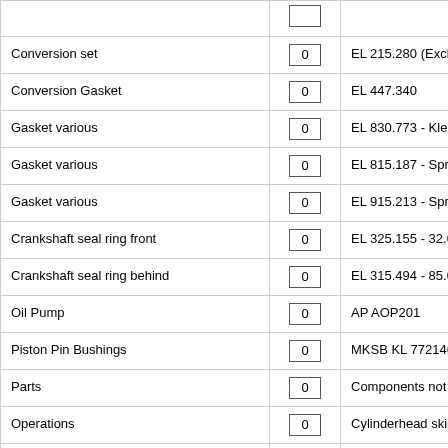| Item | Qty | Reference |
| --- | --- | --- |
|  | 0 |  |
| Conversion set | 0 | EL 215.280 (Excl.) |
| Conversion Gasket | 0 | EL 447.340 |
| Gasket various | 0 | EL 830.773 - Klepdeks |
| Gasket various | 0 | EL 815.187 - Spruitstu |
| Gasket various | 0 | EL 915.213 - Spruitstu |
| Crankshaft seal ring front | 0 | EL 325.155 - 32.00 x 4 |
| Crankshaft seal ring behind | 0 | EL 315.494 - 85.00 x 1 |
| Oil Pump | 0 | AP AOP201 |
| Piston Pin Bushings | 0 | MKSB KL 77214690 - |
| Parts | 0 | Components not foun |
| Operations | 0 | Cylinderhead skimmin |
| Operations | 0 | Valveseat refacing |
| Operations | 0 | Valve grinding |
| Operations | 0 | Fitting new guides |
| Operations | 0 | Place new hardened v |